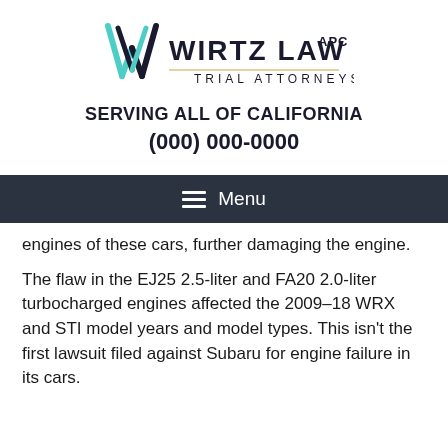[Figure (logo): Wirtz Law APC Trial Attorneys logo with stylized W in dark navy and teal, followed by firm name text]
SERVING ALL OF CALIFORNIA
(000) 000-0000
Menu
engines of these cars, further damaging the engine.
The flaw in the EJ25 2.5-liter and FA20 2.0-liter turbocharged engines affected the 2009–18 WRX and STI model years and model types. This isn't the first lawsuit filed against Subaru for engine failure in its cars.